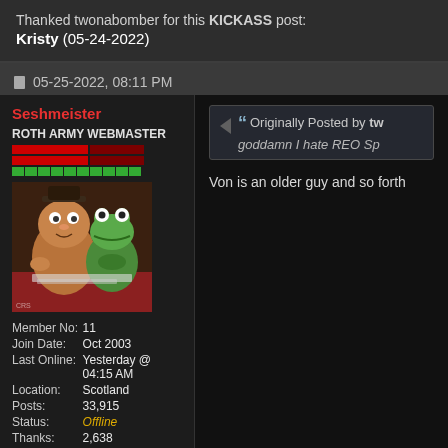Thanked twonabomber for this KICKASS post:
Kristy (05-24-2022)
05-25-2022, 08:11 PM
Seshmeister
ROTH ARMY WEBMASTER
[Figure (photo): Avatar image showing Fozzie Bear and Kermit the Frog from The Muppets]
| Member No: | 11 |
| Join Date: | Oct 2003 |
| Last Online: | Yesterday @ 04:15 AM |
| Location: | Scotland |
| Posts: | 33,915 |
| Status: | Offline |
| Thanks: | 2,638 |
| Thanked 8,894 Times in 5,709 Posts |  |
| Rep Power: | 10 |
Originally Posted by tw
goddamn I hate REO Sp
Von is an older guy and so forth